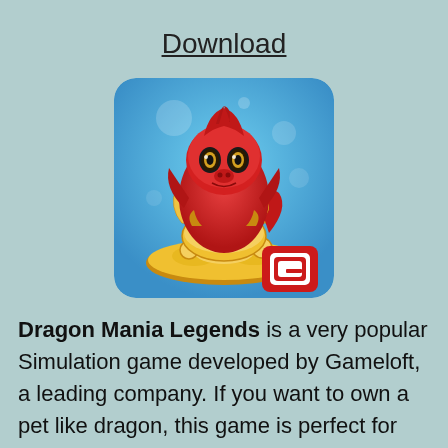Download
[Figure (illustration): Dragon Mania Legends app icon showing a cute red baby dragon hatching from an egg surrounded by gold coins, on a blue sparkly background, with Gameloft logo in the bottom right corner.]
Dragon Mania Legends is a very popular Simulation game developed by Gameloft, a leading company. If you want to own a pet like dragon, this game is perfect for you. This latest version Mod Apk has unlimited money, Gems,